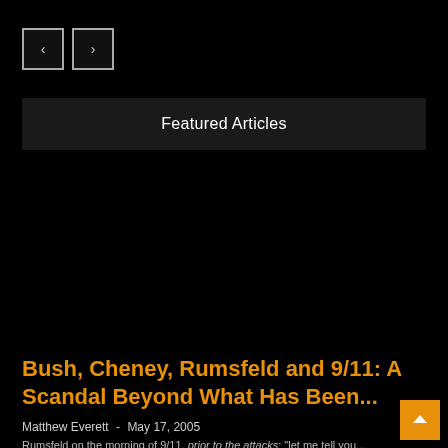[Figure (screenshot): Navigation previous and next arrow buttons rendered as small bordered boxes on dark background]
Featured Articles
[Figure (photo): Large dark image area for article thumbnail — content not visible]
Bush, Cheney, Rumsfeld and 9/11: A Scandal Beyond What Has Been...
Matthew Everett  -  May 17, 2005
Rumsfeld on the morning of 9/11, prior to the attacks: "let me tell you...